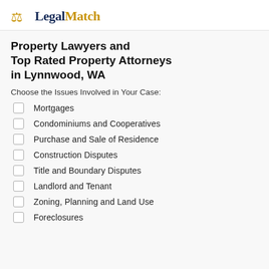LegalMatch
Property Lawyers and Top Rated Property Attorneys in Lynnwood, WA
Choose the Issues Involved in Your Case:
Mortgages
Condominiums and Cooperatives
Purchase and Sale of Residence
Construction Disputes
Title and Boundary Disputes
Landlord and Tenant
Zoning, Planning and Land Use
Foreclosures